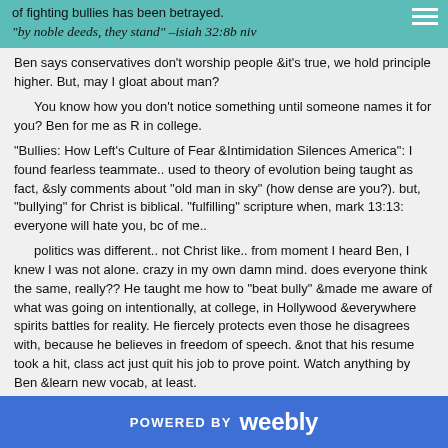of fighting bullies has been betrayed.
"by noble deeds, they stand" –isiah 32:8b niv
Ben says conservatives don't worship people &it's true, we hold principle higher. But, may I gloat about man?
You know how you don't notice something until someone names it for you? Ben for me as R in college.
"Bullies: How Left's Culture of Fear &Intimidation Silences America": I found fearless teammate.. used to theory of evolution being taught as fact, &sly comments about "old man in sky" (how dense are you?). but, "bullying" for Christ is biblical. "fulfilling" scripture when, mark 13:13: everyone will hate you, bc of me..
politics was different.. not Christ like.. from moment I heard Ben, I knew I was not alone. crazy in my own damn mind. does everyone think the same, really?? He taught me how to "beat bully" &made me aware of what was going on intentionally, at college, in Hollywood &everywhere spirits battles for reality. He fiercely protects even those he disagrees with, because he believes in freedom of speech. &not that his resume took a hit, class act just quit his job to prove point. Watch anything by Ben &learn new vocab, at least.
POWERED BY weebly